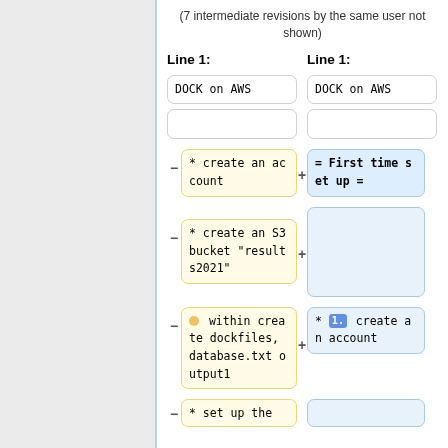(7 intermediate revisions by the same user not shown)
Line 1:
Line 1:
DOCK on AWS
DOCK on AWS
* create an account
= First time set up =
* create an S3 bucket "results2021"
* within create dockfiles, database.txt output1
* 1. create an account
* set up the